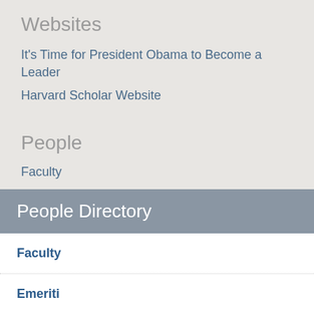Websites
It's Time for President Obama to Become a Leader
Harvard Scholar Website
People
Faculty
People Directory
Faculty
Emeriti